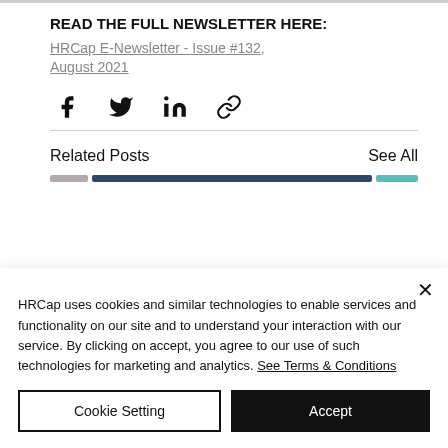READ THE FULL NEWSLETTER HERE:
HRCap E-Newsletter - Issue #132, August 2021
[Figure (other): Social share icons: Facebook, Twitter, LinkedIn, link/copy icon]
Related Posts
See All
HRCap uses cookies and similar technologies to enable services and functionality on our site and to understand your interaction with our service. By clicking on accept, you agree to our use of such technologies for marketing and analytics. See Terms & Conditions